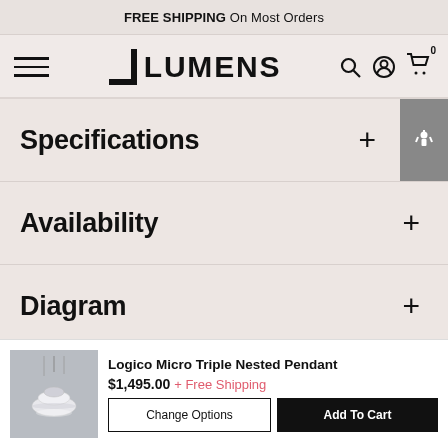FREE SHIPPING On Most Orders
[Figure (logo): Lumens logo with bracket mark and navigation icons (hamburger menu, search, account, cart with 0 badge)]
Specifications
Availability
Diagram
[Figure (photo): Logico Micro Triple Nested Pendant product thumbnail photo showing pendant light against dark background]
Logico Micro Triple Nested Pendant $1,495.00 + Free Shipping
Change Options | Add To Cart